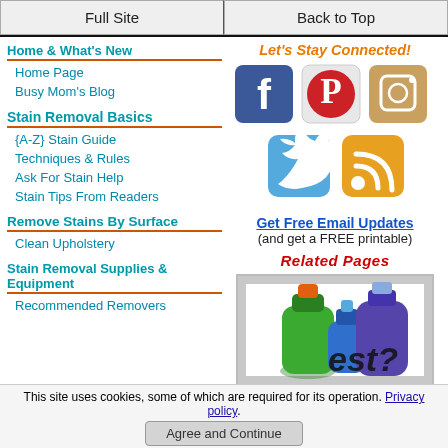Full Site | Back to Top
Home & What's New
Home Page
Busy Mom's Blog
Stain Removal Basics
{A-Z} Stain Guide
Techniques & Rules
Ask For Stain Help
Stain Tips From Readers
Remove Stains By Surface
Clean Upholstery
Stain Removal Supplies & Equipment
Recommended Removers
Let's Stay Connected!
[Figure (screenshot): Social media icons: Facebook, Pinterest, Instagram, Twitter, RSS feed]
Get Free Email Updates (and get a FREE printable)
Related Pages
[Figure (photo): Cleaning product bottles with 'best?' text overlay]
This site uses cookies, some of which are required for its operation. Privacy policy.
Agree and Continue